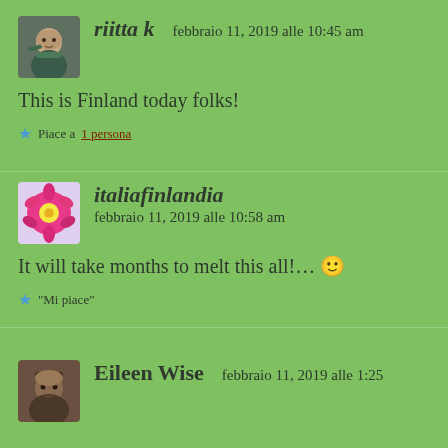[Figure (photo): Avatar photo of riitta k, person with scarf]
riitta k   febbraio 11, 2019 alle 10:45 am
This is Finland today folks!
★ Piace a 1 persona
[Figure (photo): Avatar photo of italiafinlandia, pink flower]
italiafinlandia   febbraio 11, 2019 alle 10:58 am
It will take months to melt this all!... 🙂
★ "Mi piace"
[Figure (photo): Avatar photo of Eileen Wise]
Eileen Wise   febbraio 11, 2019 alle 1:25